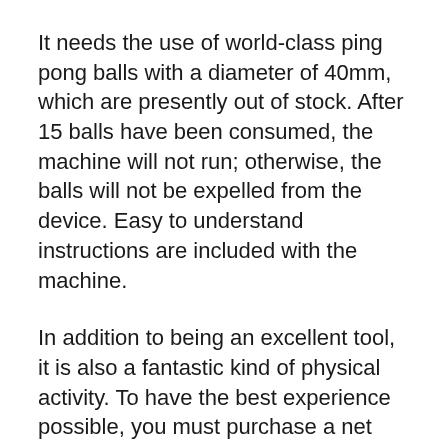It needs the use of world-class ping pong balls with a diameter of 40mm, which are presently out of stock. After 15 balls have been consumed, the machine will not run; otherwise, the balls will not be expelled from the device. Easy to understand instructions are included with the machine.
In addition to being an excellent tool, it is also a fantastic kind of physical activity. To have the best experience possible, you must purchase a net separately. The process of getting everything set up takes not much more than a minute or two.
Unfortunately, there are neither balls nor a catch net included with the machine, which